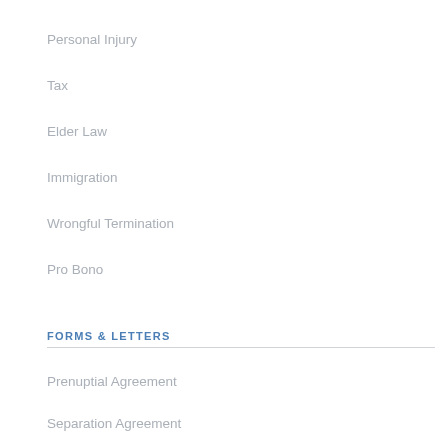Personal Injury
Tax
Elder Law
Immigration
Wrongful Termination
Pro Bono
FORMS & LETTERS
Prenuptial Agreement
Separation Agreement